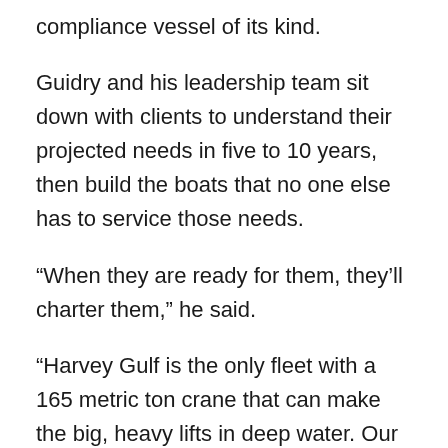compliance vessel of its kind.
Guidry and his leadership team sit down with clients to understand their projected needs in five to 10 years, then build the boats that no one else has to service those needs.
“When they are ready for them, they’ll charter them,” he said.
“Harvey Gulf is the only fleet with a 165 metric ton crane that can make the big, heavy lifts in deep water. Our vessels sleep 150 in 87 rooms that all have state-of-the-